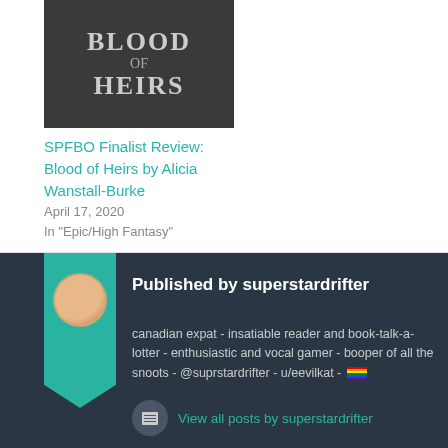[Figure (photo): Book cover for 'Blood of Heirs' showing title text on dark background]
SPFBO Finalist Review: Blood of Heirs by Alicia Wanstall-Burke
April 17, 2020
In "Epic/High Fantasy"
Published by superstardrifter
canadian expat - insatiable reader and book-talk-a-lotter - enthusiastic and vocal gamer - booper of all the snoots - @suprstardrifter - u/eevilkat - 🏳️‍🌈
View all posts by superstardrifter